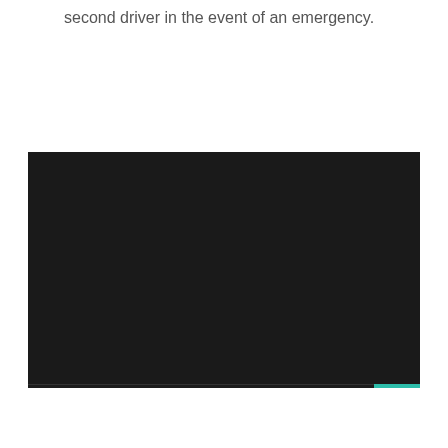second driver in the event of an emergency.
[Figure (screenshot): Embedded video player with dark/black background and a teal/green scroll-to-top button in the bottom right corner]